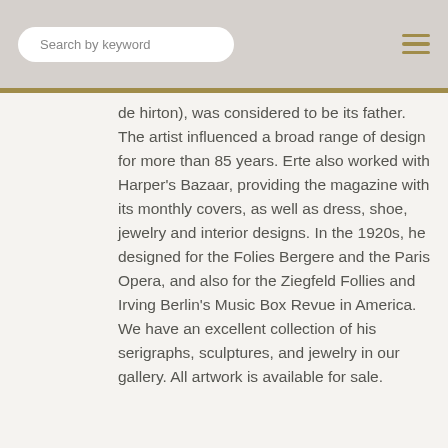Search by keyword
de hirton), was considered to be its father. The artist influenced a broad range of design for more than 85 years. Erte also worked with Harper's Bazaar, providing the magazine with its monthly covers, as well as dress, shoe, jewelry and interior designs. In the 1920s, he designed for the Folies Bergere and the Paris Opera, and also for the Ziegfeld Follies and Irving Berlin's Music Box Revue in America. We have an excellent collection of his serigraphs, sculptures, and jewelry in our gallery. All artwork is available for sale.